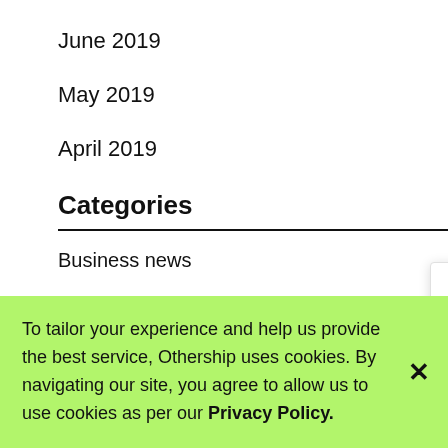June 2019
May 2019
April 2019
Categories
Business news
Coworking News
[Figure (other): Chat widget popup with cookie/chat icon and message: Want to chat about Othership. I'm here to help you find your way.]
To tailor your experience and help us provide the best service, Othership uses cookies. By navigating our site, you agree to allow us to use cookies as per our Privacy Policy.